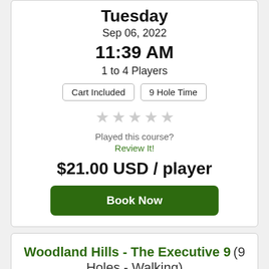Tuesday
Sep 06, 2022
11:39 AM
1 to 4 Players
Cart Included | 9 Hole Time
★★★★★ (empty stars)
Played this course?
Review It!
$21.00 USD / player
Book Now
Woodland Hills - The Executive 9 (9 Holes - Walking)
Des Moines, IA
Tuesday